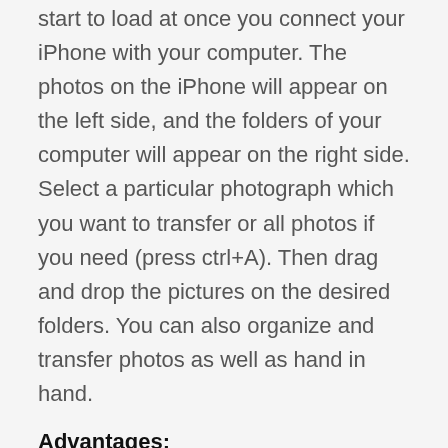start to load at once you connect your iPhone with your computer. The photos on the iPhone will appear on the left side, and the folders of your computer will appear on the right side. Select a particular photograph which you want to transfer or all photos if you need (press ctrl+A). Then drag and drop the pictures on the desired folders. You can also organize and transfer photos as well as hand in hand.
Advantages:
It is indeed easy to use.
You can access the application to copy back and forth the process the all content store.